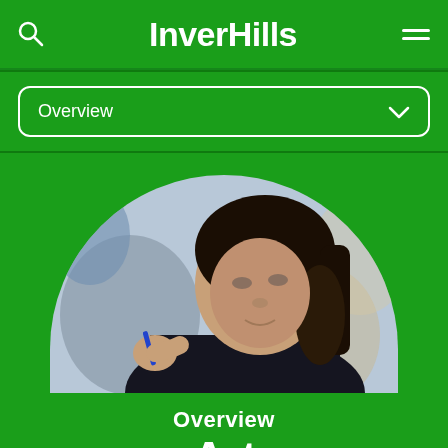InverHills
Overview
[Figure (photo): A student with long dark hair wearing a dark top, holding a pen, looking downward — photo cropped in an arch/semi-circle shape on a green background]
Overview
Art